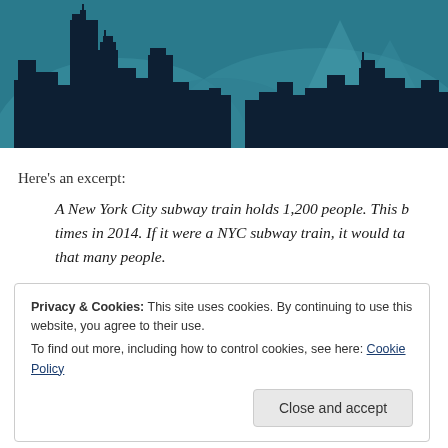[Figure (illustration): City skyline silhouette illustration with dark navy buildings against a teal/blue background with wave-like shapes]
Here's an excerpt:
A New York City subway train holds 1,200 people. This book was borrowed times in 2014. If it were a NYC subway train, it would take that many people.
Privacy & Cookies: This site uses cookies. By continuing to use this website, you agree to their use.
To find out more, including how to control cookies, see here: Cookie Policy
Close and accept